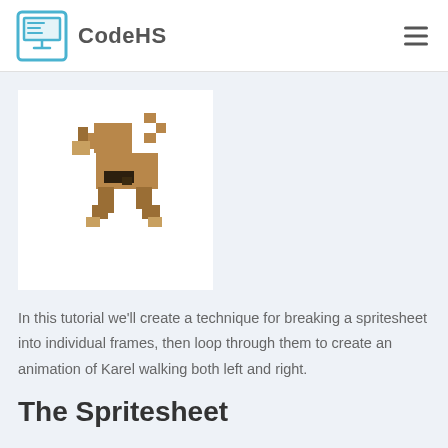CodeHS
[Figure (illustration): Pixel-art style dog (Karel) walking, shown in brown tones with dark collar, on white background]
In this tutorial we'll create a technique for breaking a spritesheet into individual frames, then loop through them to create an animation of Karel walking both left and right.
The Spritesheet